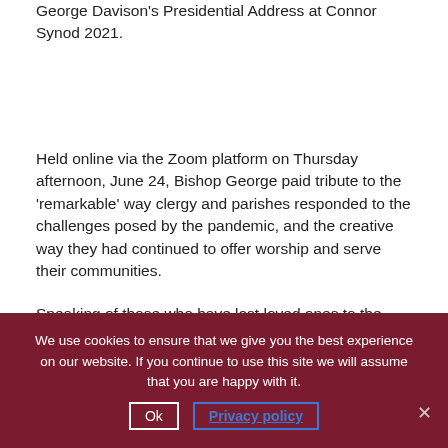George Davison's Presidential Address at Connor Synod 2021.
Held online via the Zoom platform on Thursday afternoon, June 24, Bishop George paid tribute to the 'remarkable' way clergy and parishes responded to the challenges posed by the pandemic, and the creative way they had continued to offer worship and serve their communities.
Speaking of those who have lost loved ones to the virus, the bishop said his thoughts and prayers were with all who mourn. He made special reference to the Rev John Anderson, rector of Billy and Derrykeighan, whose death in April from Covid-19 had been such a great shock.
We use cookies to ensure that we give you the best experience on our website. If you continue to use this site we will assume that you are happy with it.